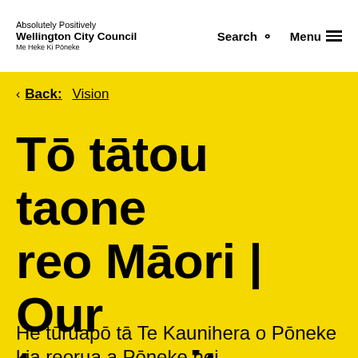Absolutely Positively Wellington City Council Me Heke Ki Pōneke | Search | Menu
< Back: Vision
Tō tātou taone reo Māori | Our te reo city
He tūruapō tā Te Kaunihera o Pōneke kia reorua a Pōneke hei